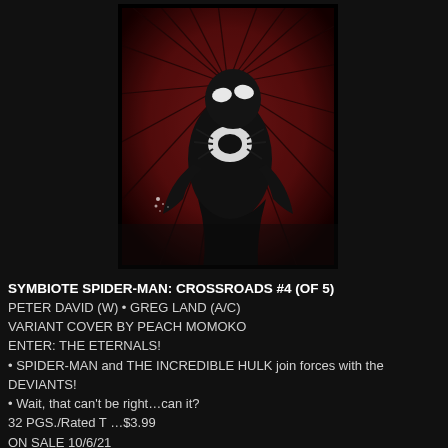[Figure (illustration): Comic book cover art showing a figure in a black symbiote Spider-Man suit with a white spider logo on the chest, set against a dark red and black background with radiating branch-like lines.]
SYMBIOTE SPIDER-MAN: CROSSROADS #4 (OF 5)
PETER DAVID (W) • GREG LAND (A/C)
VARIANT COVER BY PEACH MOMOKO
ENTER: THE ETERNALS!
• SPIDER-MAN and THE INCREDIBLE HULK join forces with the DEVIANTS!
• Wait, that can't be right…can it?
32 PGS./Rated T …$3.99
ON SALE 10/6/21